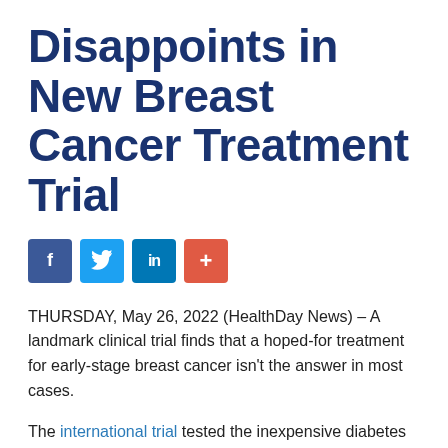Disappoints in New Breast Cancer Treatment Trial
[Figure (infographic): Social media share buttons: Facebook (blue), Twitter (light blue), LinkedIn (dark blue), plus/more (orange-red)]
THURSDAY, May 26, 2022 (HealthDay News) – A landmark clinical trial finds that a hoped-for treatment for early-stage breast cancer isn't the answer in most cases.
The international trial tested the inexpensive diabetes medication metformin and found that it did not stop or prevent the spread of the most common types of breast cancer, despite hope that